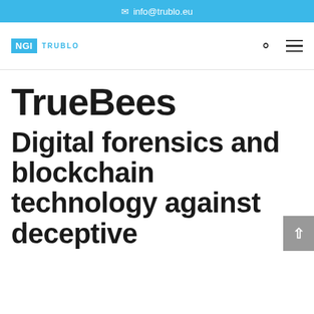✉ info@trublo.eu
[Figure (logo): NGI TRUBLO logo with NGI in teal box and TRUBLO text beside it, with search and menu icons on the right]
TrueBees
Digital forensics and blockchain technology against deceptive